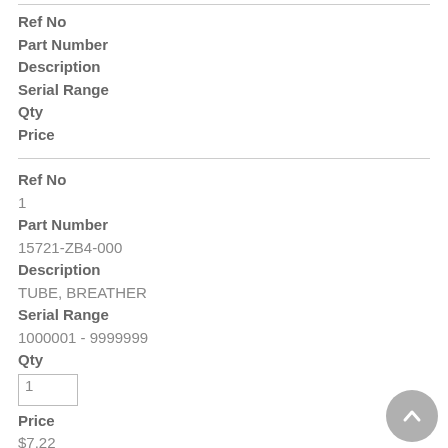Ref No
Part Number
Description
Serial Range
Qty
Price
Ref No
1
Part Number
15721-ZB4-000
Description
TUBE, BREATHER
Serial Range
1000001 - 9999999
Qty
1
Price
$7.22